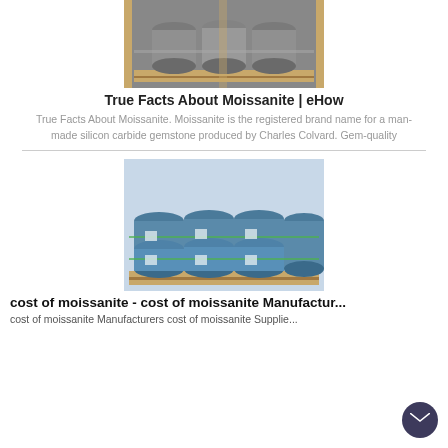[Figure (photo): Stacked industrial metal cylinders/pipes on wooden pallets, gray tones]
True Facts About Moissanite | eHow
True Facts About Moissanite. Moissanite is the registered brand name for a man-made silicon carbide gemstone produced by Charles Colvard. Gem-quality
[Figure (photo): Blue industrial drums/barrels stacked on wooden pallets in a warehouse]
cost of moissanite - cost of moissanite Manufactur...
cost of moissanite Manufacturers cost of moissanite Supplie...